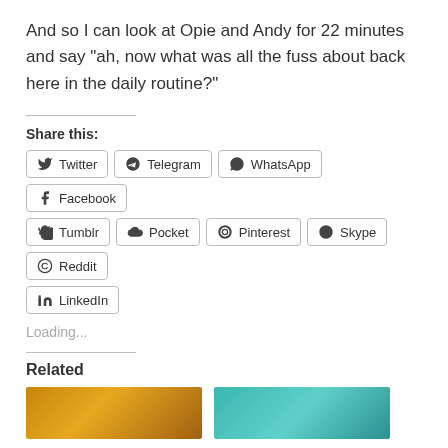And so I can look at Opie and Andy for 22 minutes and say “ah, now what was all the fuss about back here in the daily routine?”
Share this:
Twitter
Telegram
WhatsApp
Facebook
Tumblr
Pocket
Pinterest
Skype
Reddit
LinkedIn
Loading...
Related
[Figure (photo): Orange/brown toned photo thumbnail]
[Figure (photo): Teal/turquoise toned photo thumbnail]